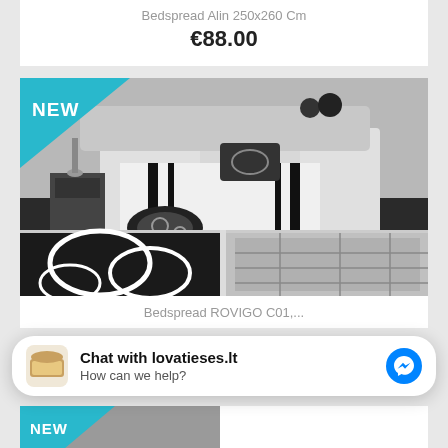Bedspread Alin 250x260 Cm
€88.00
[Figure (photo): Black and white bedspread product photo with NEW badge. Shows a bedroom with a black and white patterned bedspread on a bed, plus close-up detail shots at the bottom.]
Bedspread ROVIGO C01,...
Chat with lovatieses.lt
How can we help?